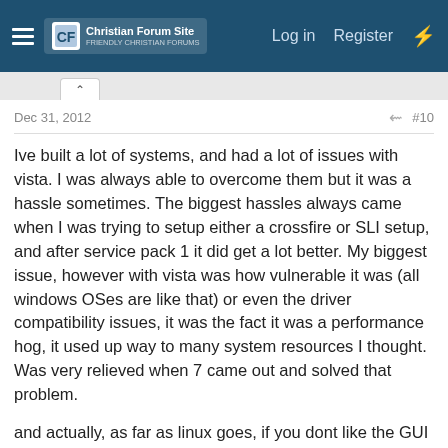Christian Forum Site — Log in  Register
Dec 31, 2012   #10
Ive built a lot of systems, and had a lot of issues with vista. I was always able to overcome them but it was a hassle sometimes. The biggest hassles always came when I was trying to setup either a crossfire or SLI setup, and after service pack 1 it did get a lot better. My biggest issue, however with vista was how vulnerable it was (all windows OSes are like that) or even the driver compatibility issues, it was the fact it was a performance hog, it used up way to many system resources I thought. Was very relieved when 7 came out and solved that problem.
and actually, as far as linux goes, if you dont like the GUI of the variant your using, use a different one. theres a million and one different flavors, the ones I like are OpenSuSe and Mandriva-both have good driver support, and performance wise will blow windows and mac right out of the water.